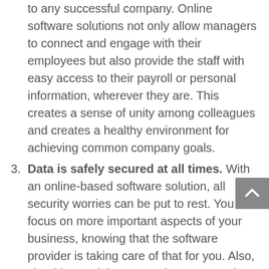to any successful company. Online software solutions not only allow managers to connect and engage with their employees but also provide the staff with easy access to their payroll or personal information, wherever they are. This creates a sense of unity among colleagues and creates a healthy environment for achieving common company goals.
Data is safely secured at all times. With an online-based software solution, all security worries can be put to rest. You can focus on more important aspects of your business, knowing that the software provider is taking care of that for you. Also, should you wish to upgrade your security system further with some add-on protection, most vendors have a few more options to suggest.
It provides easy access to new features. Vendors...